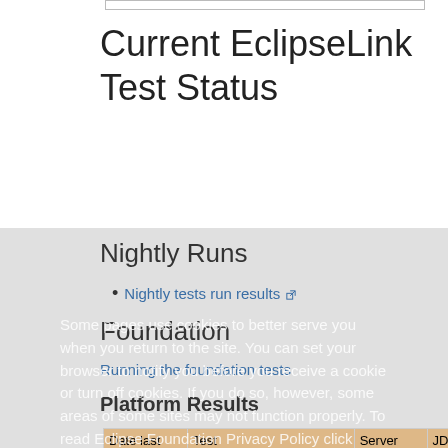Current EclipseLink Test Status
Nightly Runs
Nightly tests run results
Foundation
Running the foundation tests
Platform Results
| Date last run | Test | Server | JDK | Database | OS | Ran by | Ru |
| --- | --- | --- | --- | --- | --- | --- | --- |
| 2008-03-10 | LRGTestModel | JSE | Sun JDK 1.5 | Oracle 11gR1 | Linux | Edwin | an |
| 2008-03-13 | LRGTestModel | JSE | Sun JDK | Oracle 10gR2 | WinXP | Jamesan |  |